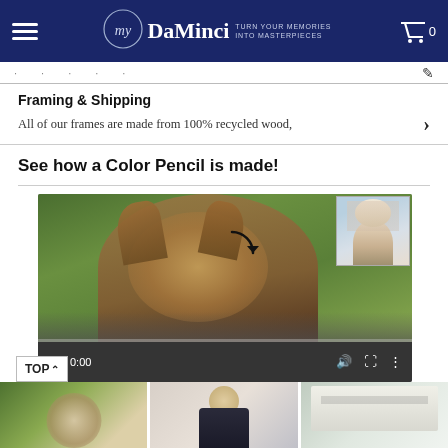myDaVinci — TURN YOUR MEMORIES INTO MASTERPIECES
Framing & Shipping
All of our frames are made from 100% recycled wood,
See how a Color Pencil is made!
[Figure (screenshot): Video player showing a color pencil portrait of a dog (Sheltie/Collie) with a spinning loading icon, displaying timecode 0:00 with playback controls]
[Figure (photo): Bottom image strip showing three thumbnail photos: a woman with a pet portrait, a man in formal wear, and a house/building exterior]